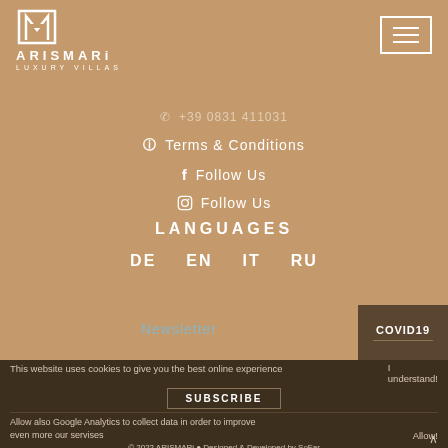[Figure (logo): Arismari Luxury Villas logo with stylized M icon in white on brown background]
[Figure (other): Hamburger menu button (three horizontal lines) in white border rectangle, top right]
+ 39 0831 411031
i  Terms & Conditions
f  Follow Us
Instagram  Follow Us
LANGUAGES
DE   EN   IT   RU
Newsletter
COVID19
This website uses cookies to give you the best online experience
I understand!
SUBSCRIBE
Allow also Google Analytics to collect data in order to improve even more our servises
Allow!
© 2022 ARISMARI ● Designed & Developed by SoFar